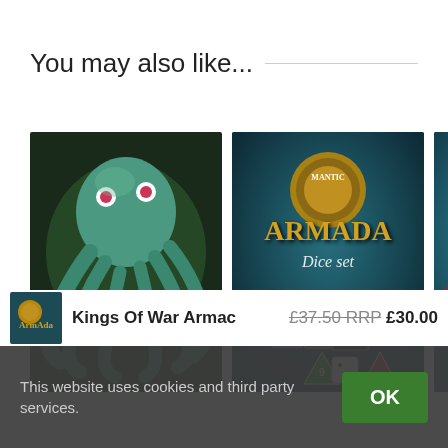You may also like...
[Figure (photo): Three product images in a row: a painted octopus miniature, Armada Dice Set box art, and partially visible Armada box art]
Kings Of War Armac
£37.50 RRP £30.00
This website uses cookies and third party services.